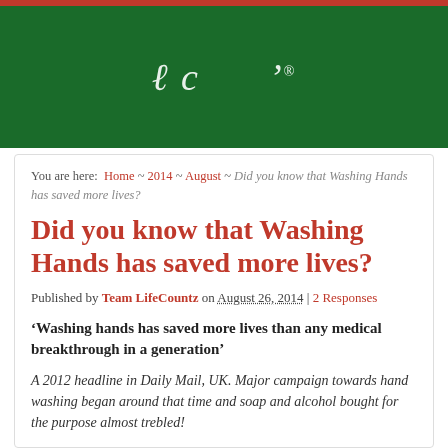[Figure (logo): LifeCountz website logo in white italic script on dark green background header]
You are here: Home ~ 2014 ~ August ~ Did you know that Washing Hands has saved more lives?
Did you know that Washing Hands has saved more lives?
Published by Team LifeCountz on August 26, 2014 | 2 Responses
‘Washing hands has saved more lives than any medical breakthrough in a generation’
A 2012 headline in Daily Mail, UK. Major campaign towards hand washing began around that time and soap and alcohol bought for the purpose almost trebled!